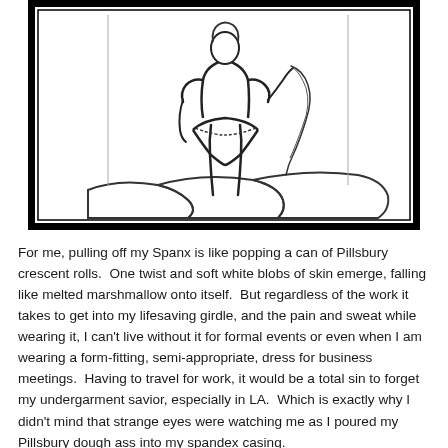[Figure (illustration): A pencil sketch illustration of a plus-size woman seen from behind, pulling up or adjusting her clothing. She stands on what appears to be a couch or padded surface. The drawing is enclosed in a thick black rectangular border with a thin inner border.]
For me, pulling off my Spanx is like popping a can of Pillsbury crescent rolls.  One twist and soft white blobs of skin emerge, falling like melted marshmallow onto itself.  But regardless of the work it takes to get into my lifesaving girdle, and the pain and sweat while wearing it, I can't live without it for formal events or even when I am wearing a form-fitting, semi-appropriate, dress for business meetings.  Having to travel for work, it would be a total sin to forget my undergarment savior, especially in LA.  Which is exactly why I didn't mind that strange eyes were watching me as I poured my Pillsbury dough ass into my spandex casing.